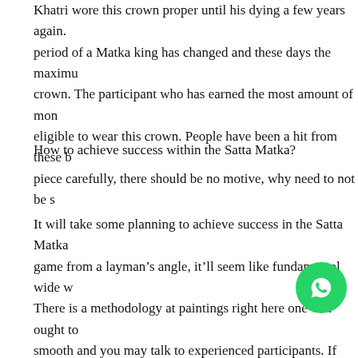Khatri wore this crown proper until his dying a few years again. period of a Matka king has changed and these days the maximum crown. The participant who has earned the most amount of mon eligible to wear this crown. People have been a hit from these b piece carefully, there should be no motive, why need to not be s
How to achieve success within the Satta Matka?
It will take some planning to achieve success in the Satta Matka game from a layman's angle, it'll seem like fundamental wide w There is a methodology at paintings right here one will ought to smooth and you may talk to experienced participants. If they do for pointers from dependable online web sites and tha o b foray ought to be in a free Matka sport due to the fact ll m of the guidelines at the Matka board. In a unfastened game with
[Figure (illustration): WhatsApp contact button - green circular button with WhatsApp logo]